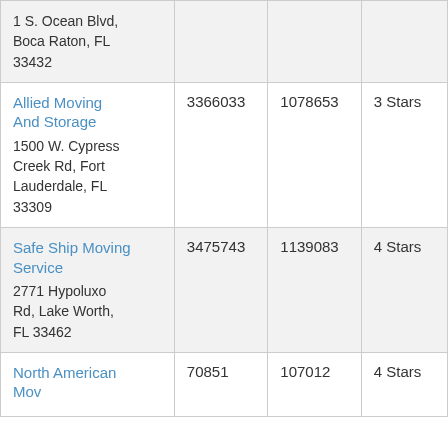| Name / Address |  |  |  |
| --- | --- | --- | --- |
| 1 S. Ocean Blvd, Boca Raton, FL 33432 |  |  |  |
| Allied Moving And Storage
1500 W. Cypress Creek Rd, Fort Lauderdale, FL 33309 | 3366033 | 1078653 | 3 Stars |
| Safe Ship Moving Service
2771 Hypoluxo Rd, Lake Worth, FL 33462 | 3475743 | 1139083 | 4 Stars |
| North American Moving... | 70851 | 107012 | 4 Stars |